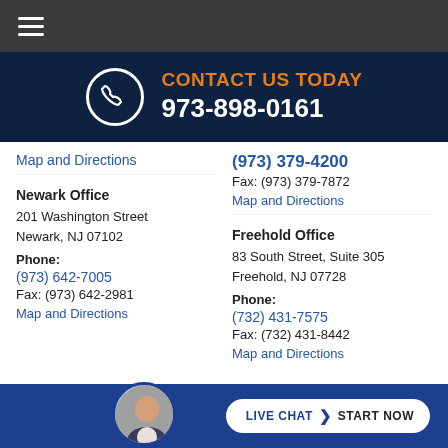[Figure (other): Dark gray top navigation bar with hamburger menu icon (three horizontal lines)]
[Figure (infographic): Dark navy contact banner with phone icon in white circle, orange 'CONTACT US TODAY' text, and white phone number 973-898-0161]
Map and Directions
(973) 379-4200
Fax: (973) 379-7872
Map and Directions
Newark Office
201 Washington Street
Newark, NJ 07102
Phone:
(973) 642-7005
Fax: (973) 642-2981
Map and Directions
Freehold Office
83 South Street, Suite 305
Freehold, NJ 07728
Phone:
(732) 431-7575
Fax: (732) 431-8442
Map and Directions
[Figure (other): Dark blue footer bar with circular avatar photo of a man in a suit, and a white pill-shaped 'LIVE CHAT > START NOW' button]